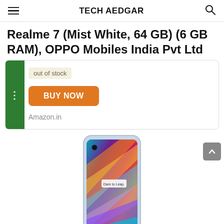TECH AEDGAR
Realme 7 (Mist White, 64 GB) (6 GB RAM), OPPO Mobiles India Pvt Ltd
out of stock
BUY NOW
Amazon.in
[Figure (photo): Realme 7 smartphone with blue/purple gradient screen showing 'Dare to Leap' text]